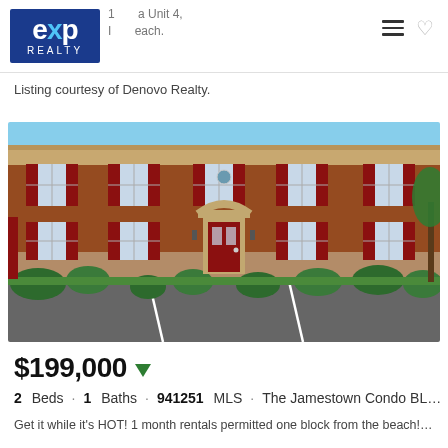eXp Realty — Unit 4, Beach
Listing courtesy of Denovo Realty.
[Figure (photo): Exterior photo of a two-story red brick apartment/condo building with red shutters, white trim, arched entryway with red door, landscaping in front, and a parking lot in the foreground.]
$199,000 ▼
2 Beds · 1 Baths · 941251 MLS · The Jamestown Condo BL…
Get it while it's HOT! 1 month rentals permitted one block from the beach! Jam…